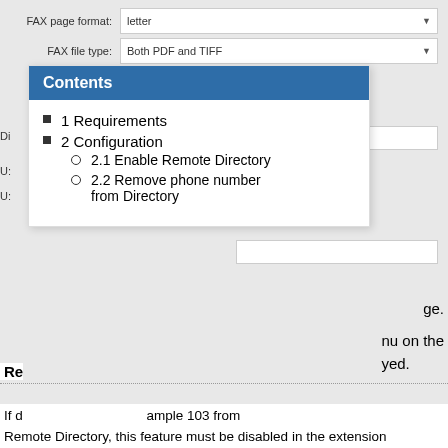FAX page format: letter
FAX file type: Both PDF and TIFF
Contents
1 Requirements
2 Configuration
2.1 Enable Remote Directory
2.2 Remove phone number from Directory
Re
ge.
nu on the yed.
If ... ample 103 from Remote Directory, this feature must be disabled in the extension